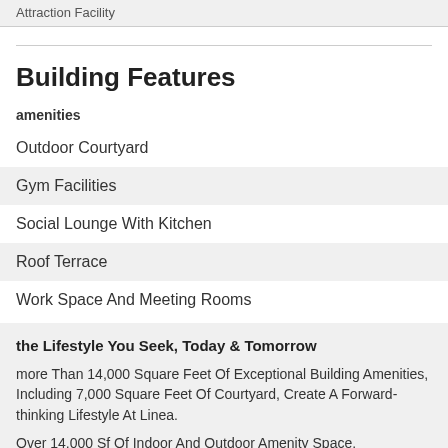Attraction Facility
Building Features
amenities
Outdoor Courtyard
Gym Facilities
Social Lounge With Kitchen
Roof Terrace
Work Space And Meeting Rooms
the Lifestyle You Seek, Today & Tomorrow
more Than 14,000 Square Feet Of Exceptional Building Amenities, Including 7,000 Square Feet Of Courtyard, Create A Forward-thinking Lifestyle At Linea.
Over 14,000 Sf Of Indoor And Outdoor Amenity Space.